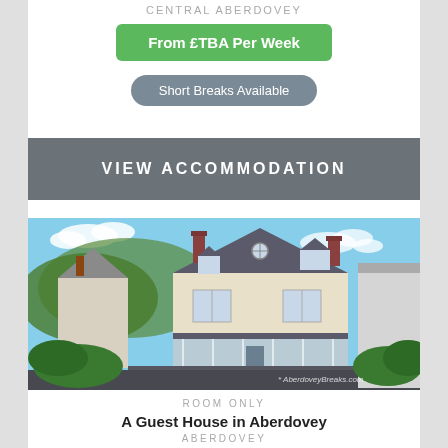CENTRAL ABERDOVEY
From £TBA Per Week
Short Breaks Available
VIEW ACCOMMODATION
[Figure (photo): A large Victorian-style guest house with cream render, grey slate roof, ground floor conservatory extension, surrounded by hedges and trees with hills in background. Watermark: AberdoveyBreaks.com]
ROOM ONLY
A Guest House in Aberdovey
ABERDOVEY